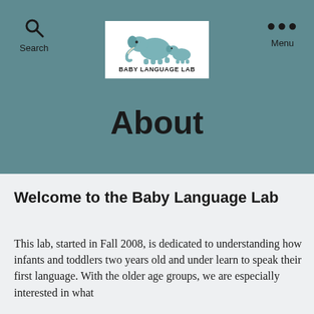Search | Baby Language Lab | Menu
[Figure (logo): Baby Language Lab logo with two elephants (large and small) above the text BABY LANGUAGE LAB]
About
Welcome to the Baby Language Lab
This lab, started in Fall 2008, is dedicated to understanding how infants and toddlers two years old and under learn to speak their first language. With the older age groups, we are especially interested in what